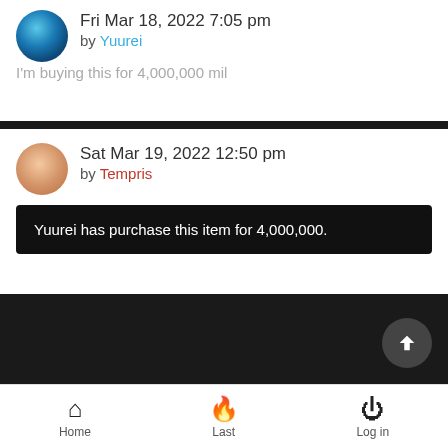Fri Mar 18, 2022 7:05 pm by Yuurei
I'm buying this for 4,000,000 mil
Sat Mar 19, 2022 12:50 pm by Tempris
Yuurei has purchase this item for 4,000,000.
Home  Last  Log in